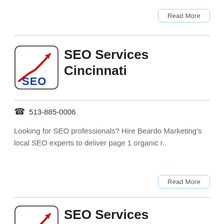Read More
[Figure (logo): SEO logo with red upward arrow trend line and blue SEO text, rounded square border]
SEO Services Cincinnati
513-885-0006
Looking for SEO professionals? Hire Beardo Marketing's local SEO experts to deliver page 1 organic r..
Read More
[Figure (logo): SEO logo with red upward arrow trend line and blue SEO text, rounded square border]
SEO Services Columbus OH